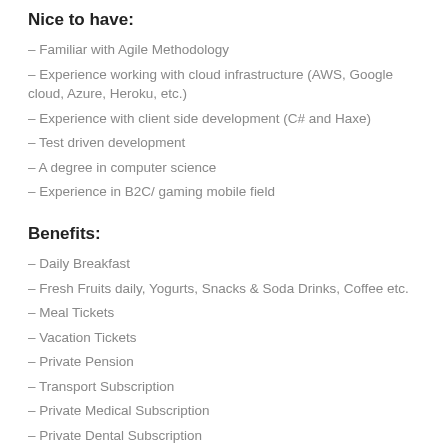Nice to have:
Familiar with Agile Methodology
Experience working with cloud infrastructure (AWS, Google cloud, Azure, Heroku, etc.)
Experience with client side development (C# and Haxe)
Test driven development
A degree in computer science
Experience in B2C/ gaming mobile field
Benefits:
Daily Breakfast
Fresh Fruits daily, Yogurts, Snacks & Soda Drinks, Coffee etc.
Meal Tickets
Vacation Tickets
Private Pension
Transport Subscription
Private Medical Subscription
Private Dental Subscription
Wellbeing Benefit (Peer Fitness, massage, etc.)